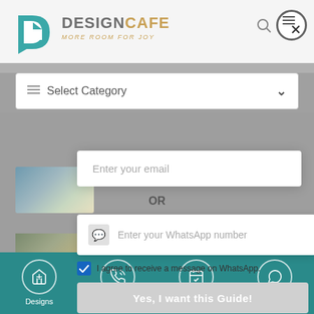[Figure (screenshot): DesignCafe website header with logo, search icon, and close button]
Select Category
[Figure (screenshot): Modal dialog with email input field, OR divider, WhatsApp number input, checkbox for WhatsApp agreement, and submit button]
Enter your email
OR
Enter your WhatsApp number
I agree to receive a message on WhatsApp.
Yes, I want this Guide!
afe Modular
A Modern Living Room Solved:
That Are
Designs | Call Now | Get Free Quote | WhatsApp